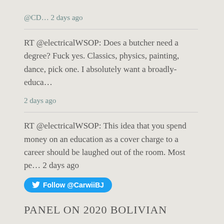@CD… 2 days ago
RT @electricalWSOP: Does a butcher need a degree? Fuck yes. Classics, physics, painting, dance, pick one. I absolutely want a broadly-educa… 2 days ago
RT @electricalWSOP: This idea that you spend money on an education as a cover charge to a career should be laughed out of the room. Most pe… 2 days ago
Follow @CarwiiBJ
PANEL ON 2020 BOLIVIAN